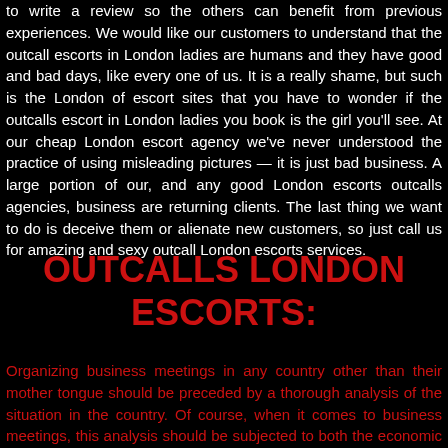to write a review so the others can benefit from previous experiences. We would like our customers to understand that the outcall escorts in London ladies are humans and they have good and bad days, like every one of us. It is a really shame, but such is the London of escort sites that you have to wonder if the outcalls escort in London ladies you book is the girl you'll see. At our cheap London escort agency we've never understood the practice of using misleading pictures — it is just bad business. A large portion of our, and any good London escorts outcalls agencies, business are returning clients. The last thing we want to do is deceive them or alienate new customers, so just call us for amazing and sexy outcall London escorts services.
OUTCALLS LONDON ESCORTS:
Organizing business meetings in any country other than their mother tongue should be preceded by a thorough analysis of the situation in the country. Of course, when it comes to business meetings, this analysis should be subjected to both the economic situation and economic conditions of the